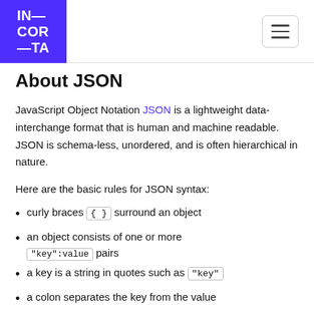IN—COR—TA
About JSON
JavaScript Object Notation JSON is a lightweight data-interchange format that is human and machine readable. JSON is schema-less, unordered, and is often hierarchical in nature.
Here are the basic rules for JSON syntax:
curly braces { } surround an object
an object consists of one or more "key":value pairs
a key is a string in quotes such as "key"
a colon separates the key from the value